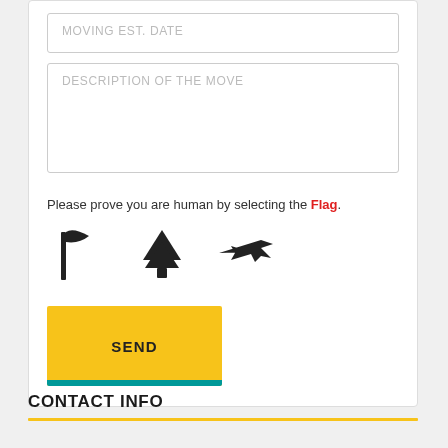[Figure (screenshot): Form input field with placeholder text MOVING EST. DATE]
[Figure (screenshot): Form textarea with placeholder text DESCRIPTION OF THE MOVE]
Please prove you are human by selecting the Flag.
[Figure (illustration): Three icons: a flag, a pine tree, and an airplane]
[Figure (screenshot): Yellow SEND button with teal underline]
CONTACT INFO